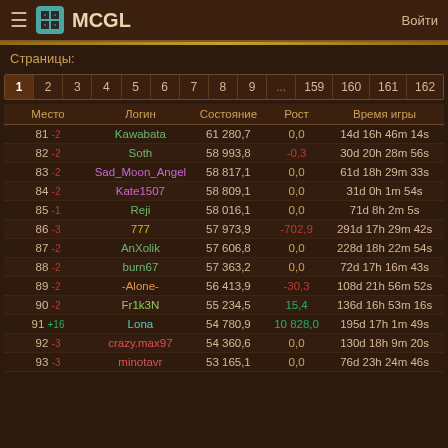MCGL — Войти
Страницы:
| 1 | 2 | 3 | 4 | 5 | 6 | 7 | 8 | 9 | ... | 159 | 160 | 161 | 162 |
| --- | --- | --- | --- | --- | --- | --- | --- | --- | --- | --- | --- | --- | --- |
| Место | Логин | Состояние | Рост | Время игры |
| --- | --- | --- | --- | --- |
| 81 -2 | Kawabata | 61 280,7 | 0,0 | 14d 16h 46m 14s |
| 82 -2 | Soth | 58 993,8 | -0,3 | 30d 20h 28m 56s |
| 83 -2 | Sad_Moon_Angel | 58 817,1 | 0,0 | 61d 18h 29m 33s |
| 84 -2 | Kate1507 | 58 809,1 | 0,0 | 31d 0h 1m 54s |
| 85 -1 | Reji | 58 016,1 | 0,0 | 71d 8h 2m 5s |
| 86 -3 | 777 | 57 973,9 | -702,9 | 291d 17h 29m 42s |
| 87 -2 | AnXolik | 57 606,8 | 0,0 | 228d 18h 22m 54s |
| 88 -2 | burn67 | 57 363,2 | 0,0 | 72d 17h 16m 43s |
| 89 -2 | -Alone- | 56 413,9 | -30,3 | 108d 21h 56m 52s |
| 90 -2 | Fr1k3N | 55 234,5 | 15,4 | 136d 16h 53m 16s |
| 91 +16 | Lona | 54 780,9 | 10 828,0 | 195d 17h 1m 49s |
| 92 -3 | crazy.max97 | 54 360,6 | 0,0 | 130d 18h 9m 20s |
| 93 -3 | minotavr | 53 165,1 | 0,0 | 76d 23h 24m 46s |